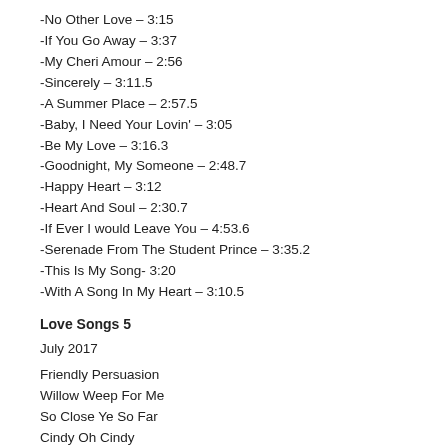-No Other Love – 3:15
-If You Go Away – 3:37
-My Cheri Amour – 2:56
-Sincerely – 3:11.5
-A Summer Place – 2:57.5
-Baby, I Need Your Lovin' – 3:05
-Be My Love – 3:16.3
-Goodnight, My Someone – 2:48.7
-Happy Heart – 3:12
-Heart And Soul – 2:30.7
-If Ever I would Leave You – 4:53.6
-Serenade From The Student Prince – 3:35.2
-This Is My Song- 3:20
-With A Song In My Heart – 3:10.5
Love Songs 5
July 2017
Friendly Persuasion
Willow  Weep For Me
So  Close  Ye  So Far
Cindy  Oh Cindy
Three  O'clock  In The  Morning
Dream A Little  Dream of  Me